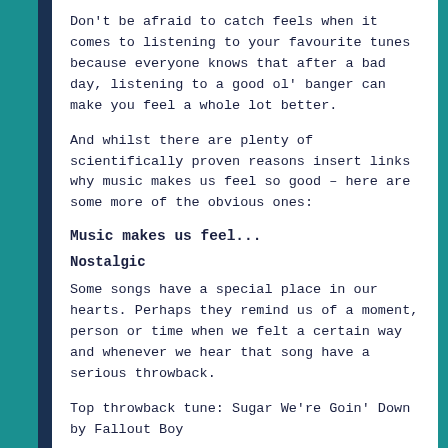Don't be afraid to catch feels when it comes to listening to your favourite tunes because everyone knows that after a bad day, listening to a good ol' banger can make you feel a whole lot better.
And whilst there are plenty of scientifically proven reasons insert links why music makes us feel so good – here are some more of the obvious ones:
Music makes us feel...
Nostalgic
Some songs have a special place in our hearts. Perhaps they remind us of a moment, person or time when we felt a certain way and whenever we hear that song have a serious throwback.
Top throwback tune: Sugar We're Goin' Down by Fallout Boy